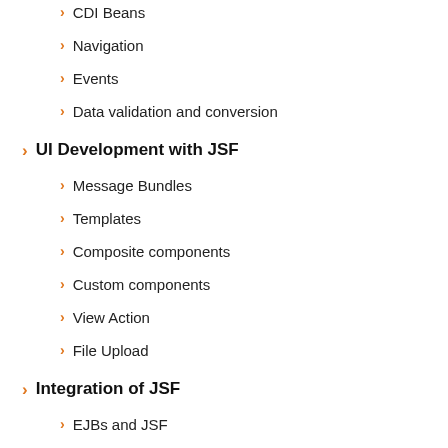CDI Beans
Navigation
Events
Data validation and conversion
UI Development with JSF
Message Bundles
Templates
Composite components
Custom components
View Action
File Upload
Integration of JSF
EJBs and JSF
HTML 5 and JSF
AJAX and JSF